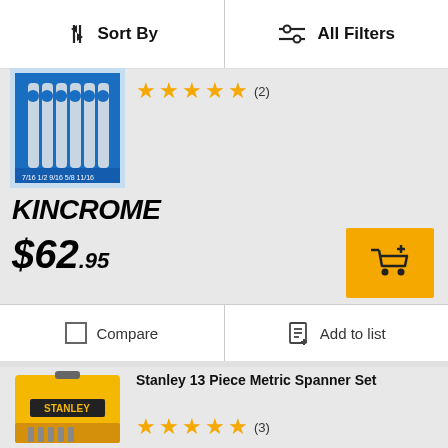Sort By | All Filters
[Figure (photo): Blue Kincrome spanner/wrench set in packaging]
★★★★★ (2)
KINCROME
$62.95
Compare | Add to list
[Figure (photo): Stanley yellow toolbox/case containing metric spanner set]
Stanley 13 Piece Metric Spanner Set
★★★★★ (3)